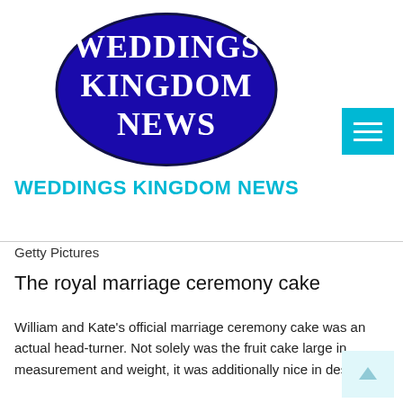[Figure (logo): Weddings Kingdom News oval logo with dark blue/indigo background and white serif text reading WEDDINGS KINGDOM NEWS]
WEDDINGS KINGDOM NEWS
Getty Pictures
The royal marriage ceremony cake
William and Kate's official marriage ceremony cake was an actual head-turner. Not solely was the fruit cake large in measurement and weight, it was additionally nice in design.